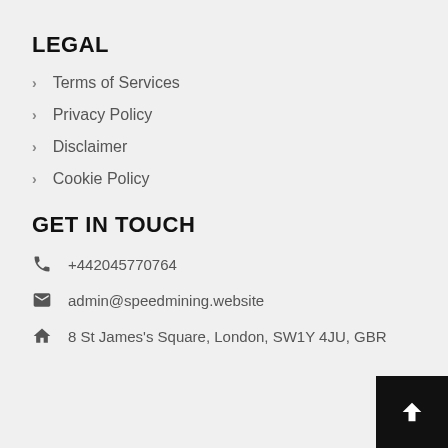LEGAL
Terms of Services
Privacy Policy
Disclaimer
Cookie Policy
GET IN TOUCH
+442045770764
admin@speedmining.website
8 St James's Square, London, SW1Y 4JU, GBR